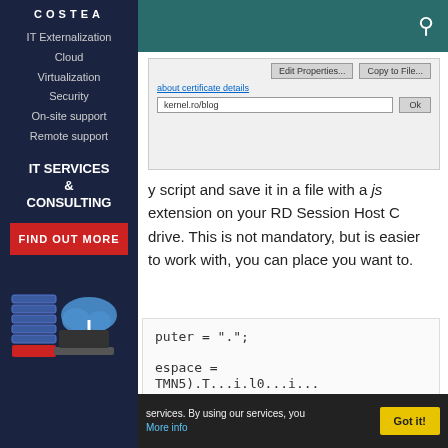COSTEA
IT Externalization
Cloud
Virtualization
Security
On-site support
Remote support
IT SERVICES & CONSULTING
FIND OUT MORE
[Figure (screenshot): Dialog box with Edit Properties and Copy to File buttons, a certificate details link, a URL field showing kernel.ro/blog, and an OK button]
y script and save it in a file with a js extension on your RD Session Host C drive. This is not mandatory, but is easier to work with, you can place you want to.
puter = ".";

espace =
TMNS).T...i.10...i..."
services. By using our services, you
More info
Got it!